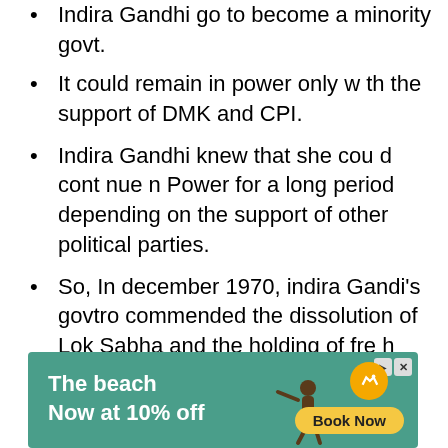Indira Gandhi go to become a minority govt.
It could remain in power only w th the support of DMK and CPI.
Indira Gandhi knew that she cou d cont nue n Power for a long period depending on the support of other political parties.
So, In december 1970, indira Gandi's govtro commended the dissolution of Lok Sabha and the holding of fre h election.
[Figure (other): Advertisement banner showing a beach scene with text 'The beach Now at 10% off' and a 'Book Now' button, with an airplane icon and a person surfing.]